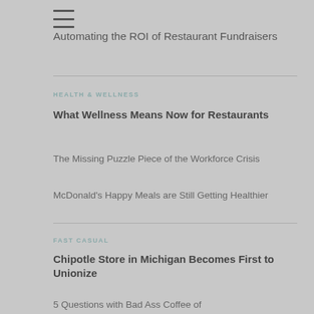[Figure (other): Hamburger menu icon (three horizontal lines)]
Automating the ROI of Restaurant Fundraisers
HEALTH & WELLNESS
What Wellness Means Now for Restaurants
The Missing Puzzle Piece of the Workforce Crisis
McDonald's Happy Meals are Still Getting Healthier
FAST CASUAL
Chipotle Store in Michigan Becomes First to Unionize
5 Questions with Bad Ass Coffee of